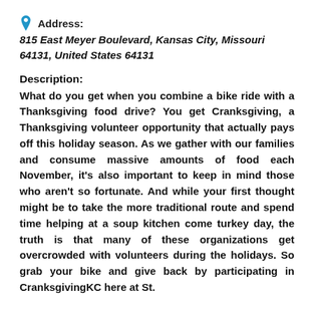Address: 815 East Meyer Boulevard, Kansas City, Missouri 64131, United States 64131
Description: What do you get when you combine a bike ride with a Thanksgiving food drive? You get Cranksgiving, a Thanksgiving volunteer opportunity that actually pays off this holiday season. As we gather with our families and consume massive amounts of food each November, it's also important to keep in mind those who aren't so fortunate. And while your first thought might be to take the more traditional route and spend time helping at a soup kitchen come turkey day, the truth is that many of these organizations get overcrowded with volunteers during the holidays. So grab your bike and give back by participating in CranksgivingKC here at St.